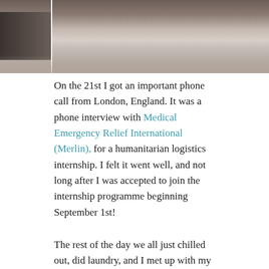[Figure (photo): Partial photo showing what appears to be a person reclining on a sofa/couch, with a cream-colored cushion and dark clothing visible, cropped at the top of the page.]
On the 21st I got an important phone call from London, England. It was a phone interview with Medical Emergency Relief International (Merlin), for a humanitarian logistics internship. I felt it went well, and not long after I was accepted to join the internship programme beginning September 1st!
The rest of the day we all just chilled out, did laundry, and I met up with my friend Dennis (with whom I studied in England way back in 2002-03) and his fiancée for dinner in Ottawa and a long conversation. On the 22nd, Matt and Jos